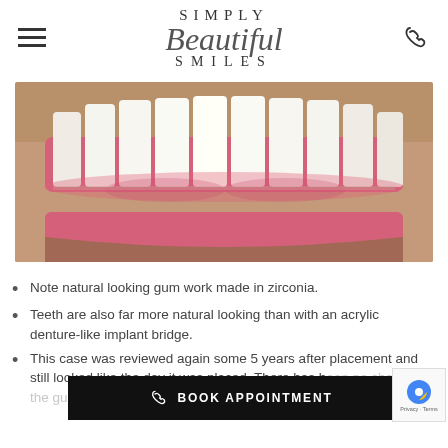SIMPLY Beautiful SMILES
[Figure (photo): Close-up dental photo showing natural-looking teeth and pink gum tissue with zirconia gum work after implant bridge placement]
Note natural looking gum work made in zirconia.
Teeth are also far more natural looking than with an acrylic denture-like implant bridge.
This case was reviewed again some 5 years after placement and still looked like the day it was placed. There has been no change in the gum level around the patient's implants. ie the patient's